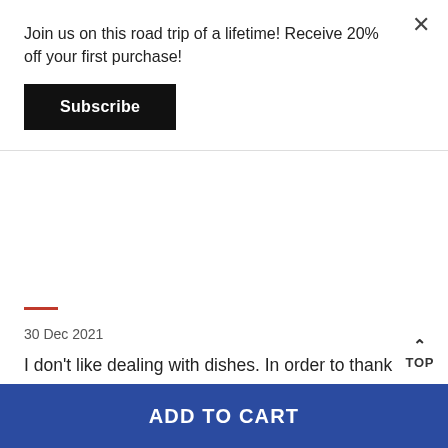Join us on this road trip of a lifetime! Receive 20% off your first purchase!
Subscribe
30 Dec 2021
I don't like dealing with dishes. In order to thank those who do all of the dish washing in my household, I got this! They love it. It takes some of the pressure out of the washing and now the actual mechanical dishwasher can do what it's supposed to without the non-mechanical dishwashers pulling double or triple duty. If you've ever had to deal with pots where the so-called non-stick vanishes overnight and you have to give your wrist and hand exercis out what's stuck on the pot bottom, this is for you. If you've d to deal with those plates that seemed to magically hide aw
TOP
ADD TO CART